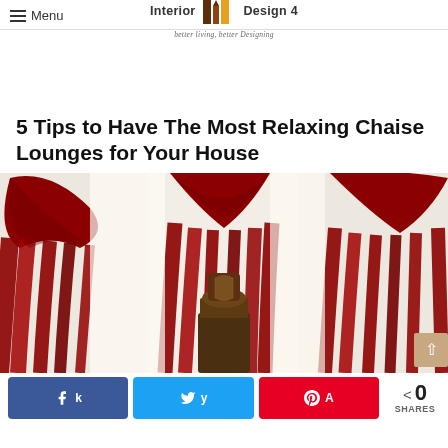≡ Menu | Interior Design 4 | better living, better Designing
5 Tips to Have The Most Relaxing Chaise Lounges for Your House
[Figure (photo): A room interior with dramatic red velvet curtains with swag valances and a decorative chair visible in the center]
< 0 SHARES (Facebook, Twitter, Pinterest share buttons)